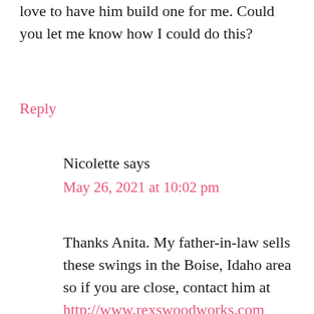love to have him build one for me. Could you let me know how I could do this?
Reply
Nicolette says
May 26, 2021 at 10:02 pm
Thanks Anita. My father-in-law sells these swings in the Boise, Idaho area so if you are close, contact him at http://www.rexswoodworks.com
Reply